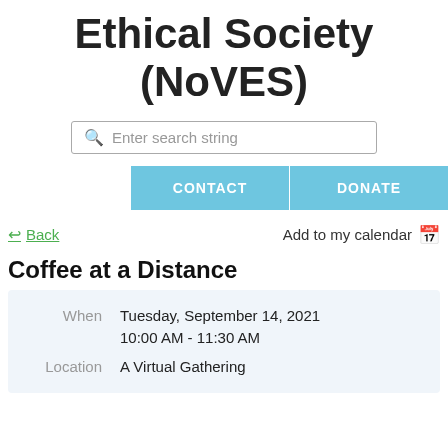Ethical Society (NoVES)
[Figure (other): Search bar with magnifying glass icon and placeholder text 'Enter search string']
[Figure (other): Navigation buttons: CONTACT | DONATE in light blue]
← Back   Add to my calendar 🗓
Coffee at a Distance
| When | Tuesday, September 14, 2021
10:00 AM - 11:30 AM |
| Location | A Virtual Gathering |